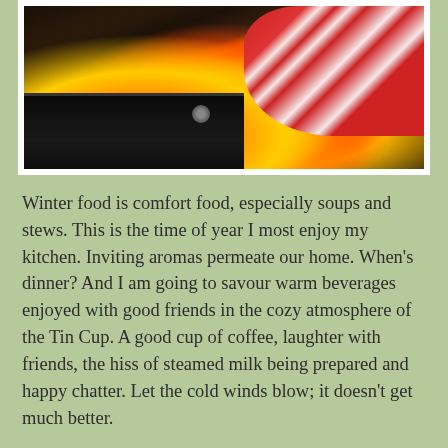[Figure (photo): A cozy fireplace scene with flames visible through a glass stove door, with red and white patterned socks or mittens visible in the upper right corner]
Winter food is comfort food, especially soups and stews. This is the time of year I most enjoy my kitchen. Inviting aromas permeate our home. When's dinner? And I am going to savour warm beverages enjoyed with good friends in the cozy atmosphere of the Tin Cup. A good cup of coffee, laughter with friends, the hiss of steamed milk being prepared and happy chatter. Let the cold winds blow; it doesn't get much better.
As I have grown older, I have increasingly come to understand that ALL of life is a gift. So much of winter in Canada is beautiful and I am going to embrace it. Yup! I can do this!